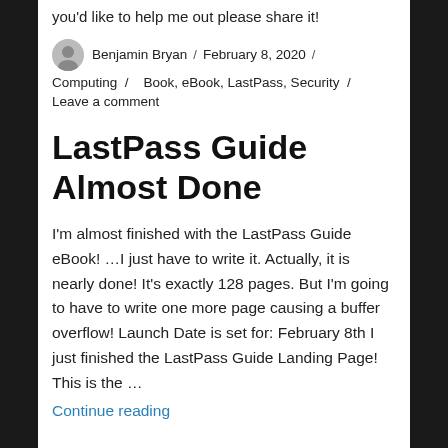you'd like to help me out please share it!
Benjamin Bryan / February 8, 2020 / Computing / Book, eBook, LastPass, Security /
Leave a comment
LastPass Guide Almost Done
I'm almost finished with the LastPass Guide eBook! …I just have to write it. Actually, it is nearly done! It's exactly 128 pages. But I'm going to have to write one more page causing a buffer overflow! Launch Date is set for: February 8th I just finished the LastPass Guide Landing Page! This is the …
Continue reading